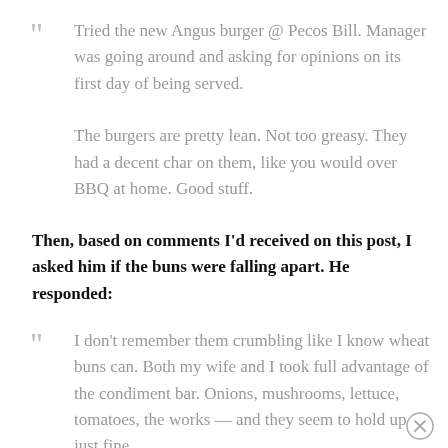Tried the new Angus burger @ Pecos Bill. Manager was going around and asking for opinions on its first day of being served.

The burgers are pretty lean. Not too greasy. They had a decent char on them, like you would over BBQ at home. Good stuff.
Then, based on comments I'd received on this post, I asked him if the buns were falling apart. He responded:
I don't remember them crumbling like I know wheat buns can. Both my wife and I took full advantage of the condiment bar. Onions, mushrooms, lettuce, tomatoes, the works — and they seem to hold up just fine.